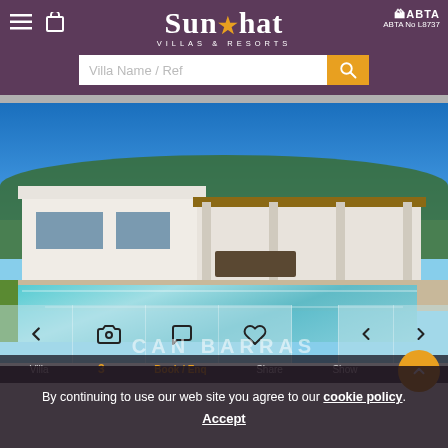Sun Hat Villas & Resorts — ABTA No L8737
Villa Name / Ref (search input)
[Figure (photo): Exterior photo of a modern white Mediterranean villa with flat roof, covered terrace with wooden beams, outdoor furniture, and a large rectangular swimming pool in the foreground under a bright blue sky surrounded by pine trees.]
CAN BARRAS
By continuing to use our web site you agree to our cookie policy. Accept